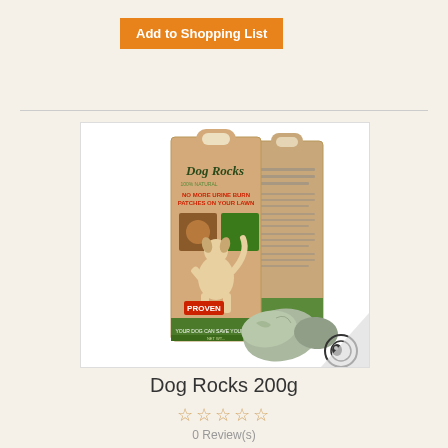Add to Shopping List
[Figure (photo): Dog Rocks 200g product packaging — front and back of a brown paper bag with green branding showing 'Dog Rocks' and 'No More Urine Burn Patches On Your Lawn', with a cartoon dog illustration and 'PROVEN' badge; two grey rocks shown beside the bag; small camera watermark in bottom right corner]
Dog Rocks 200g
☆☆☆☆☆
0 Review(s)